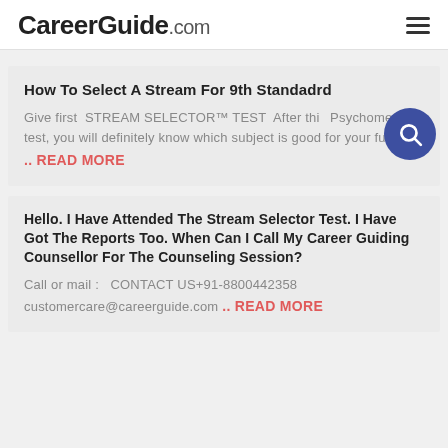CareerGuide.com
How To Select A Stream For 9th Standadrd
Give first  STREAM SELECTOR™ TEST  After this Psychometric test, you will definitely know which subject is good for your future.& .. READ MORE
Hello. I Have Attended The Stream Selector Test. I Have Got The Reports Too. When Can I Call My Career Guiding Counsellor For The Counseling Session?
Call or mail :   CONTACT US+91-8800442358 customercare@careerguide.com .. READ MORE